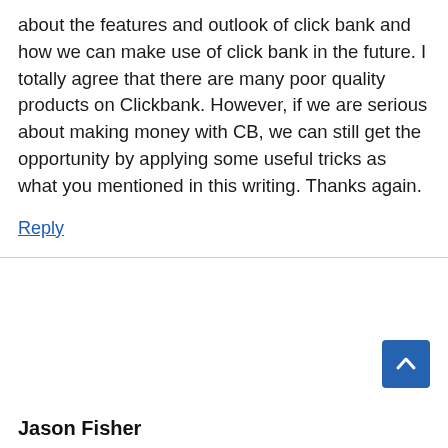about the features and outlook of click bank and how we can make use of click bank in the future. I totally agree that there are many poor quality products on Clickbank. However, if we are serious about making money with CB, we can still get the opportunity by applying some useful tricks as what you mentioned in this writing. Thanks again.
Reply
Jason Fisher